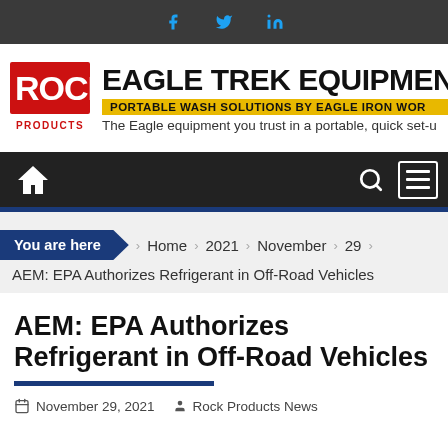Social bar with Facebook, Twitter, LinkedIn icons
[Figure (logo): Rock Products logo and Eagle Trek Equipment advertisement banner with tagline: The Eagle equipment you trust in a portable, quick set-up]
Navigation bar with home icon, search icon, and menu icon
You are here > Home > 2021 > November > 29
AEM: EPA Authorizes Refrigerant in Off-Road Vehicles
AEM: EPA Authorizes Refrigerant in Off-Road Vehicles
November 29, 2021   Rock Products News